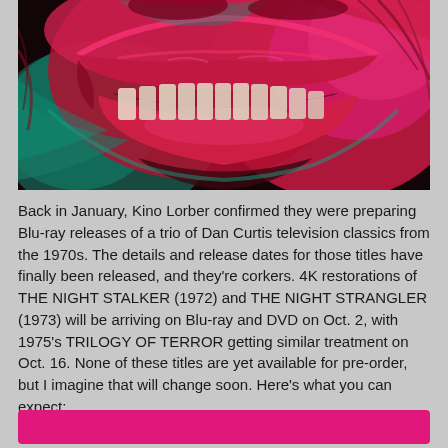[Figure (illustration): Horror illustration showing a close-up of a grotesque grinning face with large teeth, painted in dramatic red, magenta and teal/green colors on a dark background. The image shows mostly the lower half of a face with an exaggerated wide smile revealing many teeth, with hair visible at the edges.]
Back in January, Kino Lorber confirmed they were preparing Blu-ray releases of a trio of Dan Curtis television classics from the 1970s. The details and release dates for those titles have finally been released, and they're corkers. 4K restorations of THE NIGHT STALKER (1972) and THE NIGHT STRANGLER (1973) will be arriving on Blu-ray and DVD on Oct. 2, with 1975's TRILOGY OF TERROR getting similar treatment on Oct. 16. None of these titles are yet available for pre-order, but I imagine that will change soon. Here's what you can expect: